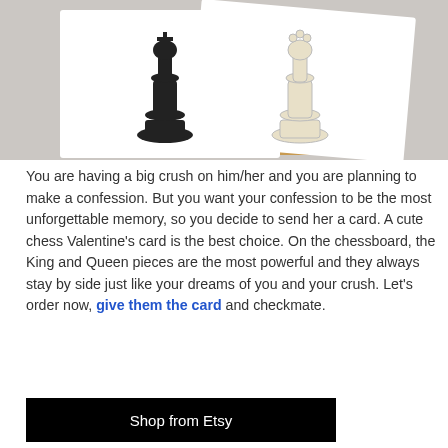[Figure (photo): Photo of chess-themed Valentine's cards showing black and white chess pieces (King and Queen) on white cards with a brown kraft envelope in background, on a light grey surface.]
You are having a big crush on him/her and you are planning to make a confession. But you want your confession to be the most unforgettable memory, so you decide to send her a card. A cute chess Valentine's card is the best choice. On the chessboard, the King and Queen pieces are the most powerful and they always stay by side just like your dreams of you and your crush. Let's order now, give them the card and checkmate.
Shop from Etsy